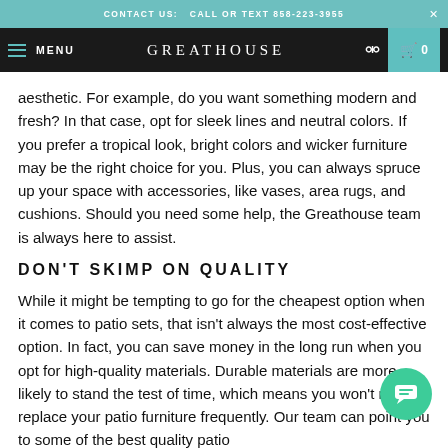CONTACT US:  CALL OR TEXT 858-223-3955
MENU  GREATHOUSE  [search] [cart 0]
aesthetic. For example, do you want something modern and fresh? In that case, opt for sleek lines and neutral colors. If you prefer a tropical look, bright colors and wicker furniture may be the right choice for you. Plus, you can always spruce up your space with accessories, like vases, area rugs, and cushions. Should you need some help, the Greathouse team is always here to assist.
DON'T SKIMP ON QUALITY
While it might be tempting to go for the cheapest option when it comes to patio sets, that isn't always the most cost-effective option. In fact, you can save money in the long run when you opt for high-quality materials. Durable materials are more likely to stand the test of time, which means you won't need to replace your patio furniture frequently. Our team can point you to some of the best quality patio